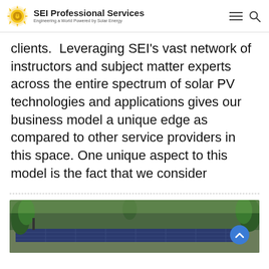SEI Professional Services — Engineering a World Powered by Solar Energy
clients.  Leveraging SEI's vast network of instructors and subject matter experts across the entire spectrum of solar PV technologies and applications gives our business model a unique edge as compared to other service providers in this space. One unique aspect to this model is the fact that we consider
[Figure (photo): Outdoor solar panel installation along a pathway surrounded by trees and vegetation]